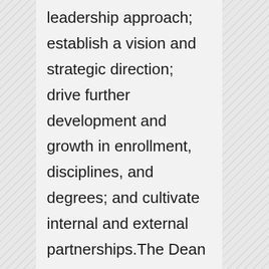leadership approach; establish a vision and strategic direction; drive further development and growth in enrollment, disciplines, and degrees; and cultivate internal and external partnerships.The Dean must embrace and understand how increased diversity of thought and background among students, faculty, administration, and staff works